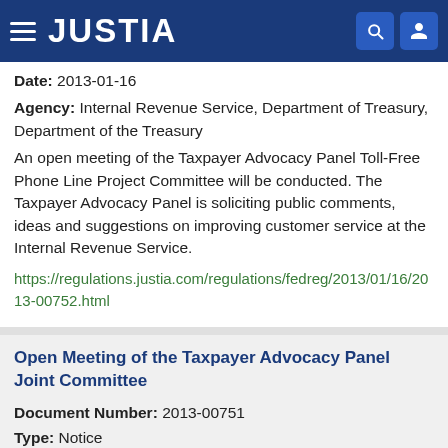JUSTIA
Date: 2013-01-16
Agency: Internal Revenue Service, Department of Treasury, Department of the Treasury
An open meeting of the Taxpayer Advocacy Panel Toll-Free Phone Line Project Committee will be conducted. The Taxpayer Advocacy Panel is soliciting public comments, ideas and suggestions on improving customer service at the Internal Revenue Service.
https://regulations.justia.com/regulations/fedreg/2013/01/16/2013-00752.html
Open Meeting of the Taxpayer Advocacy Panel Joint Committee
Document Number: 2013-00751
Type: Notice
Date: 2013-01-16
Agency: Internal Revenue Service, Department of